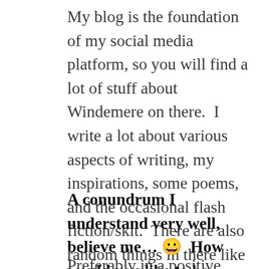My blog is the foundation of my social media platform, so you will find a lot of stuff about Windemere on there.  I write a lot about various aspects of writing, my inspirations, some poems, and the occasional flash fiction/skit.  There are also random things in there like if I cook something interesting or want to talk about my son.  I'm actually looking at dialing back how often I post and streamlining it next year because it's a lot of work to maintain and I need to focus more on my actual book writing.
A conundrum I understand very well, believe me… 😀  How would you like to be remembered?
Preferably in a positive light.  Since I'm pushing